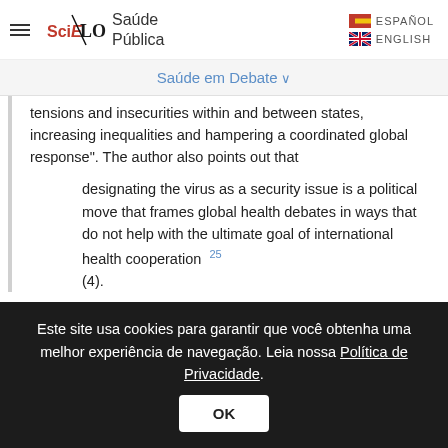[Figure (logo): SciELO Saúde Pública logo with hamburger menu and language options (ESPAÑOL, ENGLISH)]
Saúde em Debate ∨
tensions and insecurities within and between states, increasing inequalities and hampering a coordinated global response". The author also points out that
designating the virus as a security issue is a political move that frames global health debates in ways that do not help with the ultimate goal of international health cooperation 25 (4).
Este site usa cookies para garantir que você obtenha uma melhor experiência de navegação. Leia nossa Política de Privacidade.